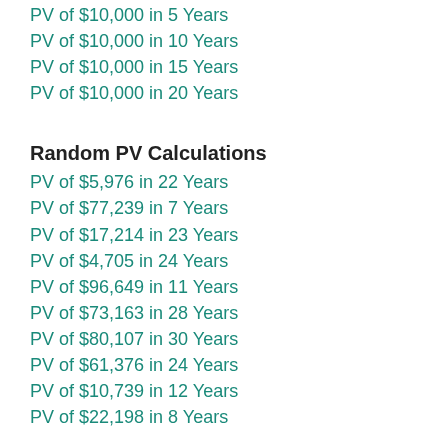PV of $10,000 in 5 Years
PV of $10,000 in 10 Years
PV of $10,000 in 15 Years
PV of $10,000 in 20 Years
Random PV Calculations
PV of $5,976 in 22 Years
PV of $77,239 in 7 Years
PV of $17,214 in 23 Years
PV of $4,705 in 24 Years
PV of $96,649 in 11 Years
PV of $73,163 in 28 Years
PV of $80,107 in 30 Years
PV of $61,376 in 24 Years
PV of $10,739 in 12 Years
PV of $22,198 in 8 Years